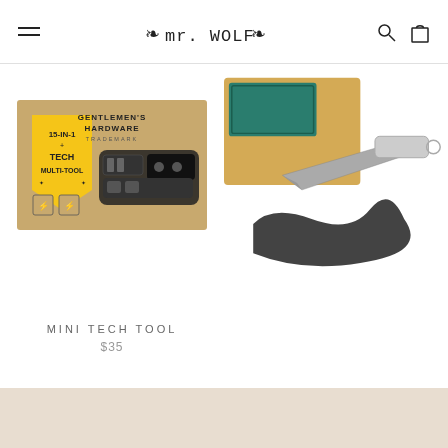mr. WOLF — navigation header with hamburger menu, logo, search and cart icons
[Figure (photo): Product photo of Gentlemen's Hardware 15-in-1 Tech Multi-Tool in kraft cardboard box packaging with yellow badge label]
MINI TECH TOOL
$35
[Figure (photo): Partially visible product — appears to be a tool or hardware item with yellow/teal packaging, partially cropped on right side]